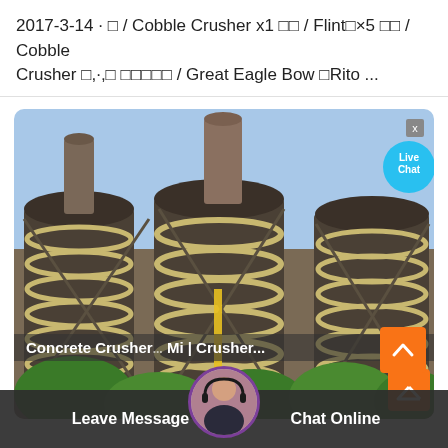2017-3-14 · □ / Cobble Crusher x1 □□ / Flint□×5 □□ / Cobble Crusher □,·,□ □□□□□ / Great Eagle Bow □Rito ...
[Figure (photo): Industrial cobble crusher machinery — large spiral/screw separator units with metal framework, tanks on top, green trees in foreground. A 'Live Chat' bubble overlay is visible in the upper right, plus a scroll-to-top orange button at bottom right.]
Concrete Crusher ... Mi | Crusher...
Leave Message
Chat Online